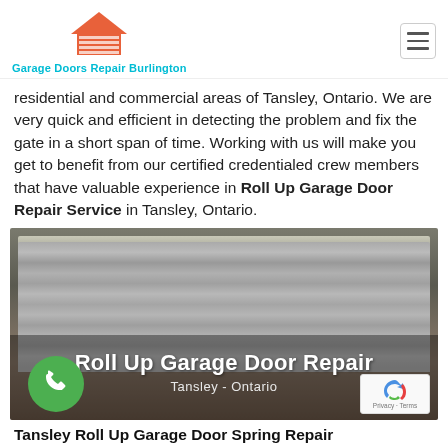Garage Doors Repair Burlington
residential and commercial areas of Tansley, Ontario. We are very quick and efficient in detecting the problem and fix the gate in a short span of time. Working with us will make you get to benefit from our certified credentialed crew members that have valuable experience in Roll Up Garage Door Repair Service in Tansley, Ontario.
[Figure (photo): Roll up garage door — metallic corrugated door on a building. Overlay text reads 'Roll Up Garage Door Repair' and 'Tansley - Ontario'. Green phone button in lower-left corner. reCAPTCHA badge in lower-right corner.]
Tansley Roll Up Garage Door Spring Repair